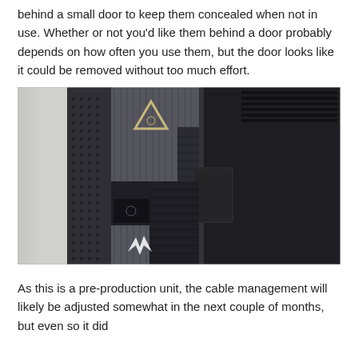behind a small door to keep them concealed when not in use. Whether or not you'd like them behind a door probably depends on how often you use them, but the door looks like it could be removed without too much effort.
[Figure (photo): Close-up photo of a gaming PC tower (Acer Predator) showing the front/side panel with a triangular power button, mesh ventilation grilles, and a partially open door revealing cable management area. The chassis is dark grey/black.]
As this is a pre-production unit, the cable management will likely be adjusted somewhat in the next couple of months, but even so it did